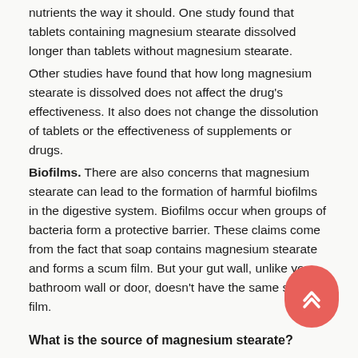nutrients the way it should. One study found that tablets containing magnesium stearate dissolved longer than tablets without magnesium stearate.
Other studies have found that how long magnesium stearate is dissolved does not affect the drug's effectiveness. It also does not change the dissolution of tablets or the effectiveness of supplements or drugs.
Biofilms. There are also concerns that magnesium stearate can lead to the formation of harmful biofilms in the digestive system. Biofilms occur when groups of bacteria form a protective barrier. These claims come from the fact that soap contains magnesium stearate and forms a scum film. But your gut wall, unlike your bathroom wall or door, doesn't have the same scum film.
What is the source of magnesium stearate?
Stearic acid comes from animal or plant sources.
Vegetarian sources of magnesium stearate include palm oil